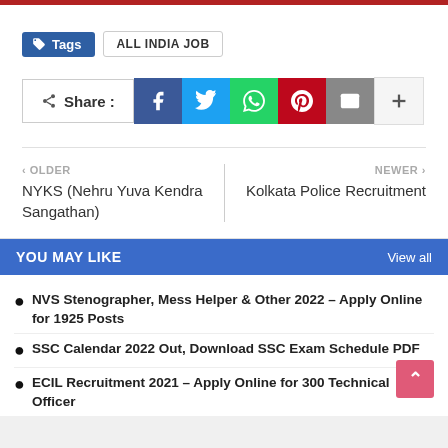Tags  ALL INDIA JOB
[Figure (infographic): Share buttons row: Share label, Facebook, Twitter, WhatsApp, Pinterest, Email, Plus icons]
< OLDER
NYKS (Nehru Yuva Kendra Sangathan)
NEWER >
Kolkata Police Recruitment
YOU MAY LIKE    View all
NVS Stenographer, Mess Helper & Other 2022 – Apply Online for 1925 Posts
SSC Calendar 2022 Out, Download SSC Exam Schedule PDF
ECIL Recruitment 2021 – Apply Online for 300 Technical Officer